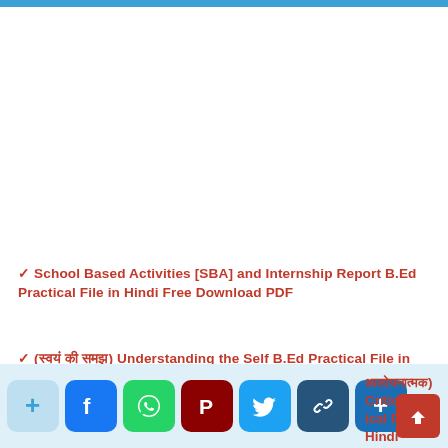✓ School Based Activities [SBA] and Internship Report B.Ed Practical File in Hindi Free Download PDF
✓ (स्वयं की समझ) Understanding the Self B.Ed Practical File in Hindi Free Download PDF
✓ (आलोचनात्मक) Critical... al File in Hindi